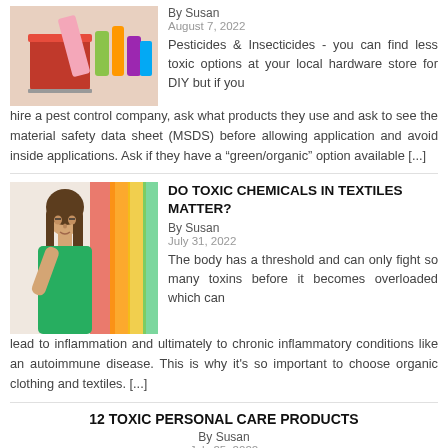[Figure (photo): Cleaning supplies in red bucket with pink towel]
By Susan
August 7, 2022
Pesticides & Insecticides - you can find less toxic options at your local hardware store for DIY but if you hire a pest control company, ask what products they use and ask to see the material safety data sheet (MSDS) before allowing application and avoid inside applications. Ask if they have a “green/organic” option available [...]
[Figure (photo): Woman thinking in front of colorful clothing rack]
DO TOXIC CHEMICALS IN TEXTILES MATTER?
By Susan
July 31, 2022
The body has a threshold and can only fight so many toxins before it becomes overloaded which can lead to inflammation and ultimately to chronic inflammatory conditions like an autoimmune disease. This is why it's so important to choose organic clothing and textiles. [...]
12 TOXIC PERSONAL CARE PRODUCTS
By Susan
July 25, 2022